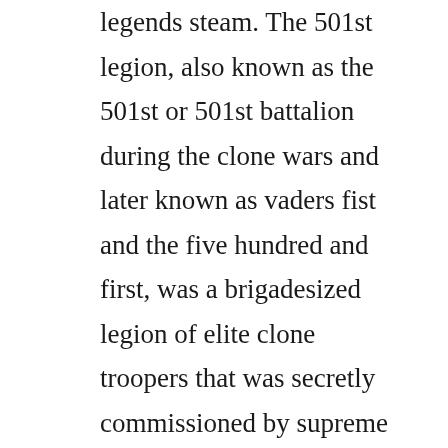legends steam. The 501st legion, also known as the 501st or 501st battalion during the clone wars and later known as vaders fist and the five hundred and first, was a brigadesized legion of elite clone troopers that was secretly commissioned by supreme chancellor palpatine during the clone wars that later became a unit of the stormtrooper corps. Omegawiki would coexist with the various wiktionaries, and for several reasons. Mobafire is a community that lives to help every lol player take their game to the next level by having open access to all our tools